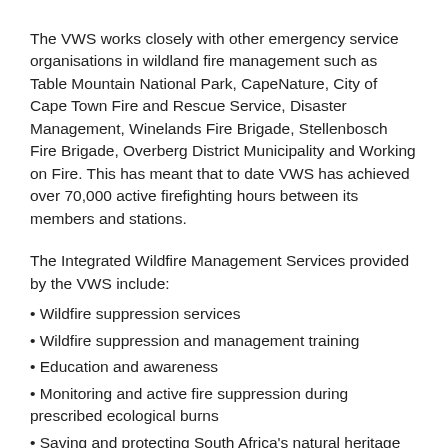The VWS works closely with other emergency service organisations in wildland fire management such as Table Mountain National Park, CapeNature, City of Cape Town Fire and Rescue Service, Disaster Management, Winelands Fire Brigade, Stellenbosch Fire Brigade, Overberg District Municipality and Working on Fire. This has meant that to date VWS has achieved over 70,000 active firefighting hours between its members and stations.
The Integrated Wildfire Management Services provided by the VWS include:
Wildfire suppression services
Wildfire suppression and management training
Education and awareness
Monitoring and active fire suppression during prescribed ecological burns
Saving and protecting South Africa's natural heritage